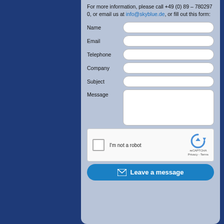For more information, please call +49 (0) 89 – 780297 0, or email us at info@skyblue.de, or fill out this form:
Name
Email
Telephone
Company
Subject
Message
[Figure (screenshot): reCAPTCHA widget with checkbox labeled 'I'm not a robot' and reCAPTCHA logo with Privacy - Terms text]
Leave a message